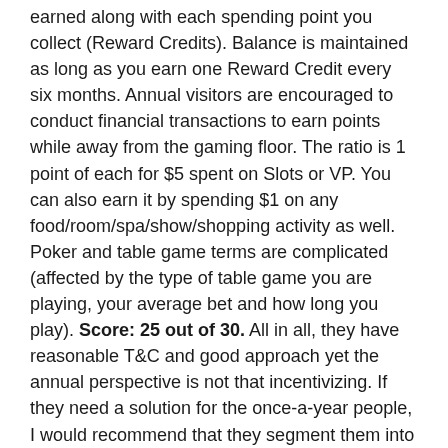earned along with each spending point you collect (Reward Credits). Balance is maintained as long as you earn one Reward Credit every six months. Annual visitors are encouraged to conduct financial transactions to earn points while away from the gaming floor. The ratio is 1 point of each for $5 spent on Slots or VP. You can also earn it by spending $1 on any food/room/spa/show/shopping activity as well. Poker and table game terms are complicated (affected by the type of table game you are playing, your average bet and how long you play). Score: 25 out of 30. All in all, they have reasonable T&C and good approach yet the annual perspective is not that incentivizing. If they need a solution for the once-a-year people, I would recommend that they segment them into a cluster (special tier, for example) instead of forcing such a term on the entire population.